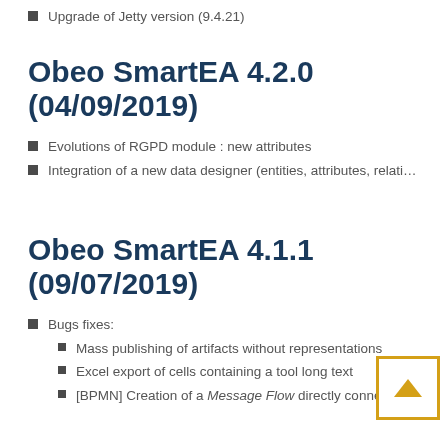Upgrade of Jetty version (9.4.21)
Obeo SmartEA 4.2.0 (04/09/2019)
Evolutions of RGPD module : new attributes
Integration of a new data designer (entities, attributes, relati…
Obeo SmartEA 4.1.1 (09/07/2019)
Bugs fixes:
Mass publishing of artifacts without representations
Excel export of cells containing a tool long text
[BPMN] Creation of a Message Flow directly connectin…